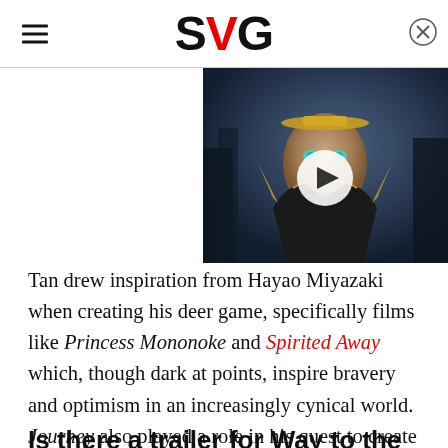SVG
[Figure (screenshot): Video thumbnail showing a bald fantasy character with gold headpiece and glowing eyes, with a play button overlay. Dark atmospheric background.]
Tan drew inspiration from Hayao Miyazaki when creating his deer game, specifically films like Princess Mononoke and Spirited Away which, though dark at points, inspire bravery and optimism in an increasingly cynical world. Journey also played a role in his quest to create an inspiring and emotional game. "The story I want to tell is how to find the joy in the journey [and] the destination," revealed Tan.
Is there a trailer for Way to the